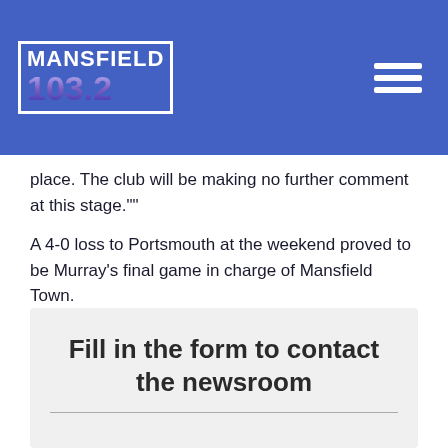[Figure (logo): Mansfield 103.2 radio station logo with white border on blue background, with hamburger menu icon]
place. The club will be making no further comment at this stage.""
A 4-0 loss to Portsmouth at the weekend proved to be Murray's final game in charge of Mansfield Town.
Click HERE for more local news or HERE for more local sport.
Fill in the form to contact the newsroom